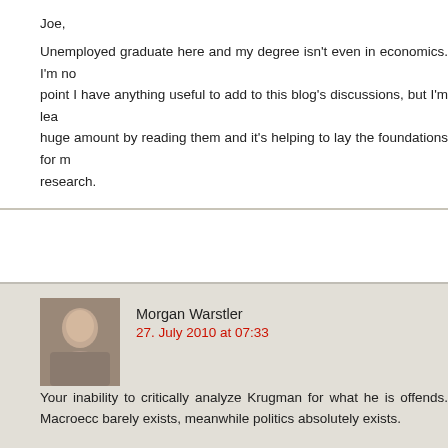Joe,
Unemployed graduate here and my degree isn't even in economics. I'm not at point I have anything useful to add to this blog's discussions, but I'm learning a huge amount by reading them and it's helping to lay the foundations for my own research.
Morgan Warstler
27. July 2010 at 07:33
Your inability to critically analyze Krugman for what he is offends. Macroeconomics barely exists, meanwhile politics absolutely exists.
Krugman believes nothing. ENRON. His "economics" are defined situationally – whatever takes from those who have and gives to those who have not – in the immediate term – is justified with econ jibber jabber.
This is WHY he likes inflation built into the model, and why you are very much suspect. Its just another tax, and he'll take as much of it as he can get before it slows down "growth."
He's an intellectual cheat, and should be treated as one.
The best thing to do with him, is constantly offer up revenue neutral changes to policy – anything that spurs on economy immediately without any...